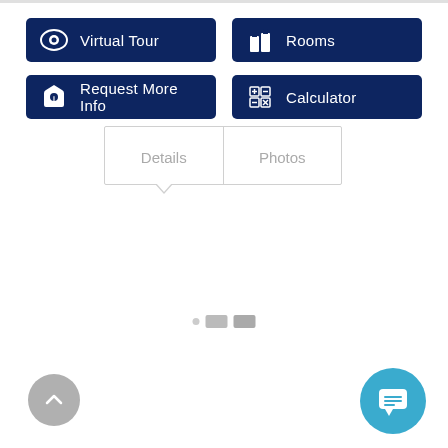[Figure (screenshot): UI button: Virtual Tour with eye icon, dark navy blue background]
[Figure (screenshot): UI button: Rooms with building/rooms icon, dark navy blue background]
[Figure (screenshot): UI button: Request More Info with house+info icon, dark navy blue background]
[Figure (screenshot): UI button: Calculator with calculator icon, dark navy blue background]
[Figure (screenshot): Tab navigation with Details and Photos tabs, Details tab selected with dropdown pointer]
[Figure (screenshot): Pagination indicator with small dot, medium rectangle, larger rectangle]
[Figure (screenshot): Scroll to top button, grey circle with upward chevron arrow]
[Figure (screenshot): Chat/messaging floating action button, blue circle with speech bubble and lines icon]